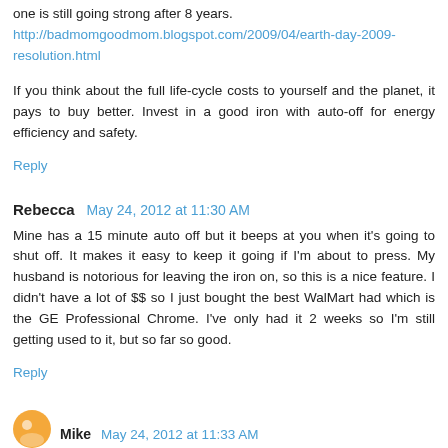one is still going strong after 8 years. http://badmomgoodmom.blogspot.com/2009/04/earth-day-2009-resolution.html
If you think about the full life-cycle costs to yourself and the planet, it pays to buy better. Invest in a good iron with auto-off for energy efficiency and safety.
Reply
Rebecca May 24, 2012 at 11:30 AM
Mine has a 15 minute auto off but it beeps at you when it's going to shut off. It makes it easy to keep it going if I'm about to press. My husband is notorious for leaving the iron on, so this is a nice feature. I didn't have a lot of $$ so I just bought the best WalMart had which is the GE Professional Chrome. I've only had it 2 weeks so I'm still getting used to it, but so far so good.
Reply
Mike May 24, 2012 at 11:33 AM